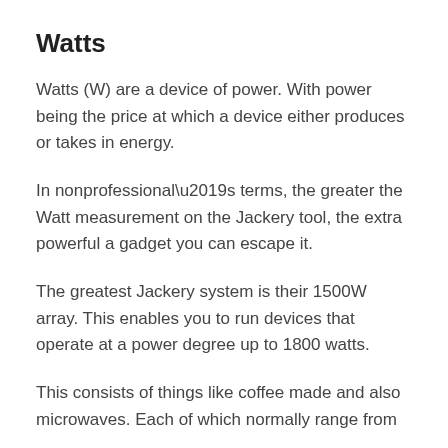Watts
Watts (W) are a device of power. With power being the price at which a device either produces or takes in energy.
In nonprofessional’s terms, the greater the Watt measurement on the Jackery tool, the extra powerful a gadget you can escape it.
The greatest Jackery system is their 1500W array. This enables you to run devices that operate at a power degree up to 1800 watts.
This consists of things like coffee made and also microwaves. Each of which normally range from